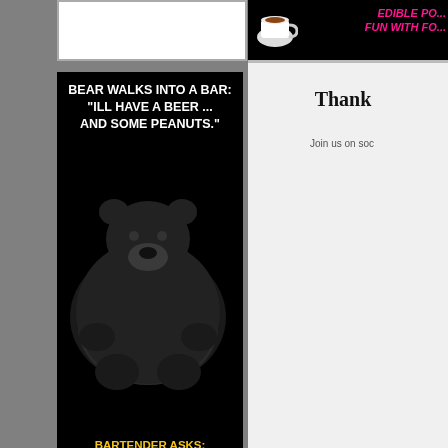[Figure (photo): Blank white rectangle at top left, partially visible]
[Figure (photo): Meme image: black background with a black bear. Top text in white Impact font reads: BEAR WALKS INTO A BAR: "ILL HAVE A BEER ... AND SOME PEANUTS." Bottom text in yellow: BARTENDER ASKS: "WHY THE BIG PAWS?" PeanutPaws.com watermark.]
[Figure (photo): Meme image: black background with a chimpanzee holding a beer mug. Top text in yellow italic: WHEN MY FRIEND FELL ASLEEP AT THE BAR, I POURED ALE ON HIM. Bottom text: IT WAS A BREWED AWAKENING! PeanutPaws.com watermark.]
[Figure (photo): Partial right-side panel: black top section with pink italic text 'EDIBLE PO... FUN WITH FO...' and a coffee cup image. Below is a white/gray panel with bold text 'Thank' and smaller text 'Join us on soc...']
Thank
Join us on soc